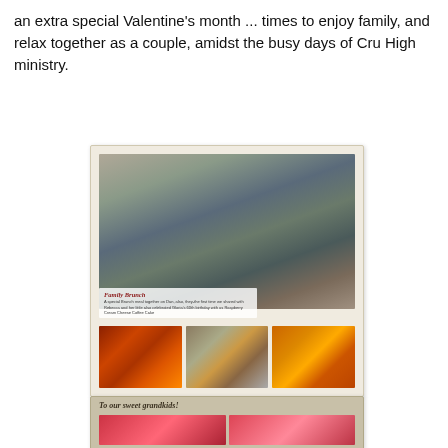an extra special Valentine's month ... times to enjoy family, and relax together as a couple, amidst the busy days of Cru High ministry.
[Figure (photo): A scrapbook-style photo collage showing a family brunch. Large main photo shows extended family seated around a long dining table. A caption box reads 'Family Brunch' with descriptive text. Three smaller photos below show food (waffles, berries), children with a birthday cake with candles, and a cake with candles from another angle.]
[Figure (photo): Partial view of another scrapbook card with handwritten-style text reading 'To our sweet grandkids!' and two small photos of red/pink dessert items visible at the bottom.]